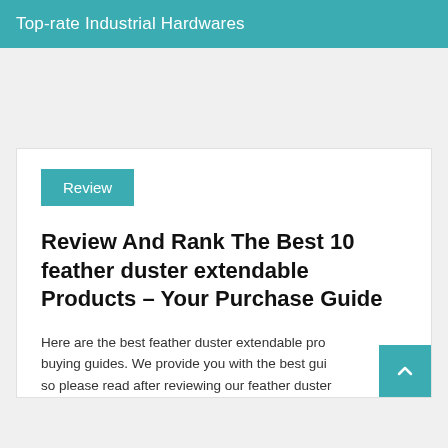Top-rate Industrial Hardwares
Review
Review And Rank The Best 10 feather duster extendable Products – Your Purchase Guide
Here are the best feather duster extendable pro buying guides. We provide you with the best gu so please read after reviewing our feather duster